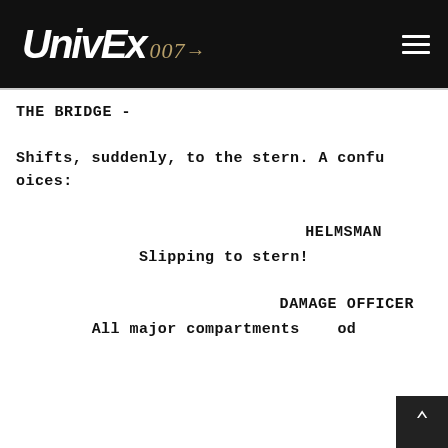UnivEx 007 [navigation header with hamburger menu]
THE BRIDGE -
Shifts, suddenly, to the stern. A confu oices:
HELMSMAN
Slipping to stern!
DAMAGE OFFICER
All major compartments od